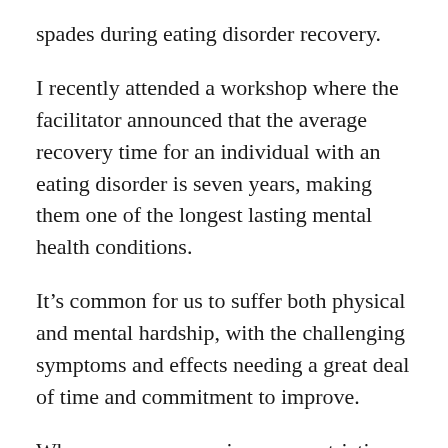spades during eating disorder recovery.
I recently attended a workshop where the facilitator announced that the average recovery time for an individual with an eating disorder is seven years, making them one of the longest lasting mental health conditions.
It’s common for us to suffer both physical and mental hardship, with the challenging symptoms and effects needing a great deal of time and commitment to improve.
When someone experiences a restrictive disorder, there’s a high chance they will need to spend months weight restoring before they are healthy enough to engage in a structured recovery programme. Lapses and